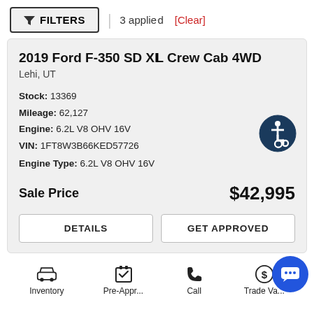FILTERS | 3 applied [Clear]
2019 Ford F-350 SD XL Crew Cab 4WD
Lehi, UT
Stock: 13369
Mileage: 62,127
Engine: 6.2L V8 OHV 16V
VIN: 1FT8W3B66KED57726
Engine Type: 6.2L V8 OHV 16V
[Figure (illustration): Wheelchair accessibility icon — dark blue circle with white wheelchair user symbol]
Sale Price   $42,995
DETAILS | GET APPROVED
Inventory   Pre-Appr...   Call   Trade Va...